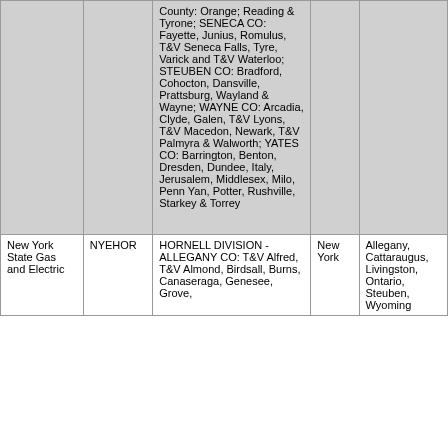|  |  | County: Orange; Reading & Tyrone; SENECA CO: Fayette, Junius, Romulus, T&V Seneca Falls, Tyre, Varick and T&V Waterloo; STEUBEN CO: Bradford, Cohocton, Dansville, Prattsburg, Wayland & Wayne; WAYNE CO: Arcadia, Clyde, Galen, T&V Lyons, T&V Macedon, Newark, T&V Palmyra & Walworth; YATES CO: Barrington, Benton, Dresden, Dundee, Italy, Jerusalem, Middlesex, Milo, Penn Yan, Potter, Rushville, Starkey & Torrey |  |  |
| New York State Gas and Electric | NYEHOR | HORNELL DIVISION - ALLEGANY CO: T&V Alfred, T&V Almond, Birdsall, Burns, Canaseraga, Genesee, Grove, | New York | Allegany, Cattaraugus, Livingston, Ontario, Steuben, Wyoming |